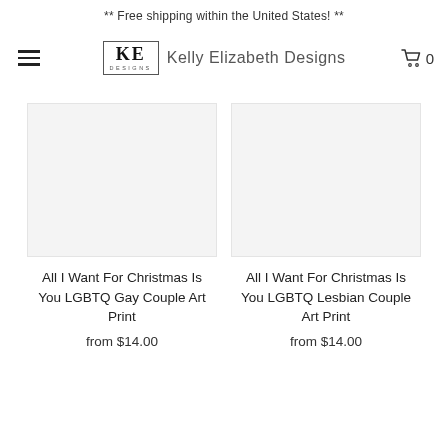** Free shipping within the United States! **
[Figure (logo): Kelly Elizabeth Designs logo with KE DESIGNS in a bordered box, followed by the text 'Kelly Elizabeth Designs' and a hamburger menu icon on the left and cart icon with 0 on the right]
All I Want For Christmas Is You LGBTQ Gay Couple Art Print
from $14.00
All I Want For Christmas Is You LGBTQ Lesbian Couple Art Print
from $14.00